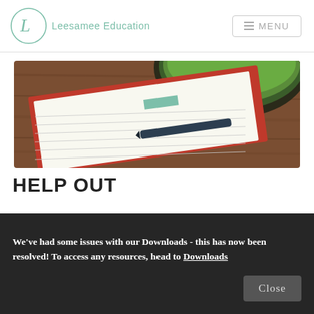[Figure (logo): Leesamee Education logo: a circle with a cursive L inside, and the text 'Leesamee Education' to the right in teal/green color]
[Figure (photo): Overhead photo of an open red notebook with lined pages and a fountain pen resting on it, alongside a green bowl on a wooden surface]
HELP OUT
We've had some issues with our Downloads - this has now been resolved! To access any resources, head to Downloads